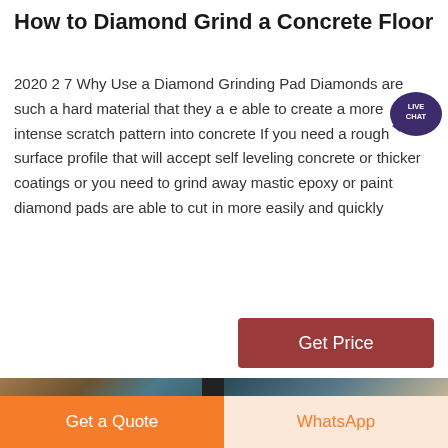How to Diamond Grind a Concrete Floor
2020 2 7 Why Use a Diamond Grinding Pad Diamonds are such a hard material that they are able to create a more intense scratch pattern into concrete If you need a rough surface profile that will accept self leveling concrete or thicker coatings or you need to grind away mastic epoxy or paint diamond pads are able to cut in more easily and quickly
[Figure (illustration): Live Chat badge/icon — purple speech bubble with LIVE CHAT text]
[Figure (photo): Get Price button (dark red/maroon)]
[Figure (photo): Photo strip showing concrete grinding equipment and work scenes]
Get a Quote
WhatsApp